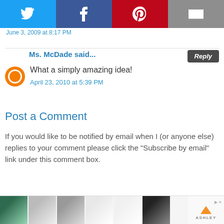[Figure (other): Social sharing bar with Twitter, Facebook, Pinterest, and Email buttons]
June 3, 2009 at 8:17 PM
Ms. McDade said...
What a simply amazing idea!
April 23, 2010 at 5:39 PM
Post a Comment
If you would like to be notified by email when I (or anyone else) replies to your comment please click the "Subscribe by email" link under this comment box.
Subscribe to: Post Comments (Atom)
[Figure (other): Advertisement bar with room/furniture images and Ashley Furniture logo]